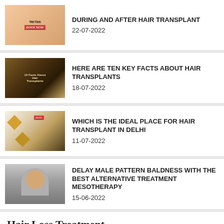DURING AND AFTER HAIR TRANSPLANT
22-07-2022
HERE ARE TEN KEY FACTS ABOUT HAIR TRANSPLANTS
18-07-2022
WHICH IS THE IDEAL PLACE FOR HAIR TRANSPLANT IN DELHI
11-07-2022
DELAY MALE PATTERN BALDNESS WITH THE BEST ALTERNATIVE TREATMENT MESOTHERAPY
15-06-2022
[Figure (illustration): Hair Loss Treatment advertisement banner showing a woman with long hair, text: Hair Loss Treatment, Effective. Affordable. No contracts.]